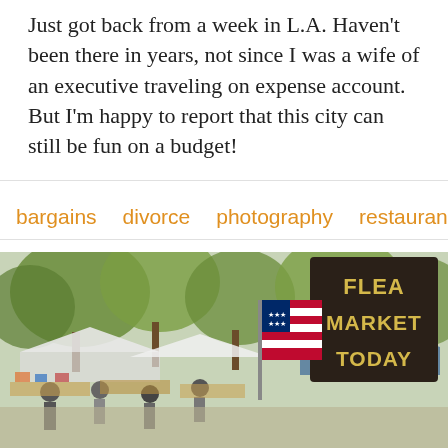Just got back from a week in L.A. Haven't been there in years, not since I was a wife of an executive traveling on expense account. But I'm happy to report that this city can still be fun on a budget!
bargains   divorce   photography   restaurants   sho…
[Figure (photo): Outdoor flea market scene with trees, people browsing stalls, an American flag, and a dark wooden sign reading 'FLEA MARKET TODAY' in yellow letters.]